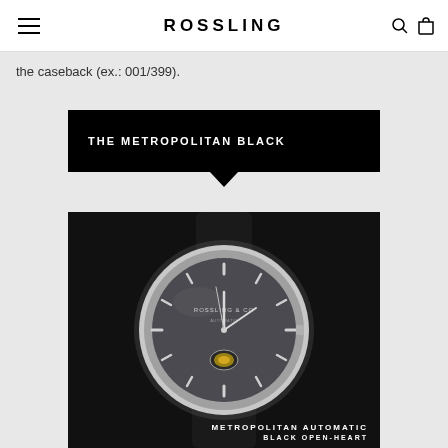ROSSLING
the caseback (ex.: 001/399).
[Figure (other): Black banner with text THE METROPOLITAN BLACK and a downward pointing arrow/chevron]
[Figure (photo): Product photo of the Rossling Metropolitan Automatic Black Open-Heart watch on a black background. The watch has a dark grey dial, silver case, open-heart complication, and black leather strap.]